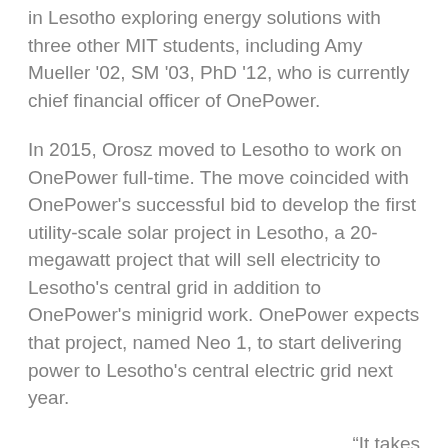in Lesotho exploring energy solutions with three other MIT students, including Amy Mueller '02, SM '03, PhD '12, who is currently chief financial officer of OnePower.
In 2015, Orosz moved to Lesotho to work on OnePower full-time. The move coincided with OnePower's successful bid to develop the first utility-scale solar project in Lesotho, a 20-megawatt project that will sell electricity to Lesotho's central grid in addition to OnePower's minigrid work. OnePower expects that project, named Neo 1, to start delivering power to Lesotho's central electric grid next year.
“It takes